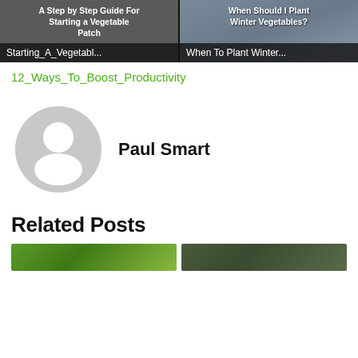[Figure (screenshot): Two video/article thumbnails side by side. Left thumbnail has dark gray background with text 'A Step by Step Guide For Starting a Vegetable Patch' and bar below reading 'Starting_A_Vegetabl...'. Right thumbnail has a photo of people with text 'When Should I Plant Winter Vegetables?' and bar below reading 'When To Plant Winter...']
12_Ways_To_Boost_Productivity
[Figure (photo): Gray circular avatar/profile icon with silhouette of a person]
Paul Smart
Related Posts
[Figure (photo): Two related post thumbnail images partially visible at the bottom - left shows green garden/plant image, right shows dark garden image]